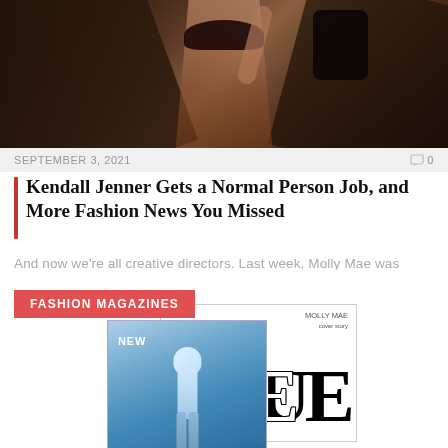[Figure (photo): Dark fashion photo of a woman in a black bikini top holding what appears to be a dark bag, with palm fronds in the background]
SEPTEMBER 3, 2021
0
Kendall Jenner Gets a Normal Person Job, and More Fashion News You Missed
And now we're all creative directors. Last week, Molly Mae was announced at the head…
[Figure (photo): Fashion magazines section showing overlapping magazine covers including a black-and-white Vogue cover and a futuristic blue cover labeled NEW with a fashion figure]
FASHION MAGAZINES